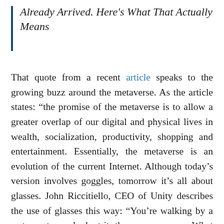Already Arrived. Here's What That Actually Means
That quote from a recent article speaks to the growing buzz around the metaverse. As the article states: “the promise of the metaverse is to allow a greater overlap of our digital and physical lives in wealth, socialization, productivity, shopping and entertainment. Essentially, the metaverse is an evolution of the current Internet. Although today’s version involves goggles, tomorrow it’s all about glasses. John Riccitiello, CEO of Unity describes the use of glasses this way: “You’re walking by a restaurant, you look at it, the menu pops up. What your friends have said about it pops up.”